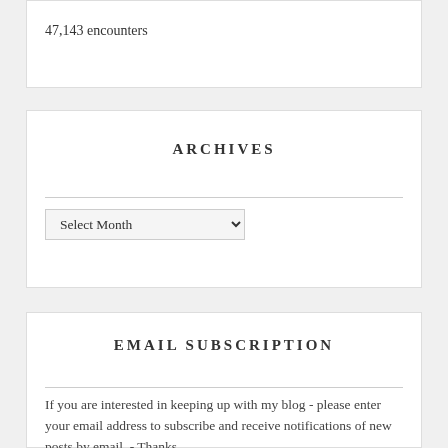47,143 encounters
ARCHIVES
Select Month
EMAIL SUBSCRIPTION
If you are interested in keeping up with my blog - please enter your email address to subscribe and receive notifications of new posts by email. - Thanks
Enter your email address